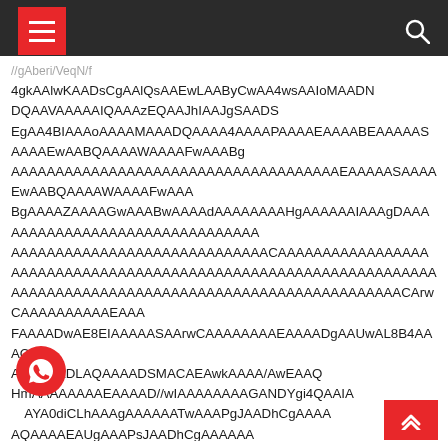[hamburger menu] [search icon]
4gkAAlwKAADsCgAAlQsAAEwLAAByCwAA4wsAAIoMAADNDQAAVA4AAAIQAAAzEQAAJhIAAJgSAADSEgAA4BIAAAoAAAAMAAADQAAAA4AAAAPAAAAEAAAABEAAAAASAAAAEwAABQAAAAWAAAAFwAAABgAAAAZAAAAGwAAABwAAAAdAAAAAAAAHgAAAAAAIAAAgDAAAAAAAAAAAAAAAAAAAAAAAAAAAAAAAAAAAAAAAAAAAAAAAAAAAAAAAAAAAAAAAAAAAAAAAAAAAAAAAAAAAAAAAAAAAAAAAAAAAAAAAAAAAAAAAAAAAAAAAAAAAAAAAAAAAAAAAAAAAAAAAAAAAAAAAAAAAAAAAAAAAAAAAAAAAAAAAAAAAAAAAAAAAAAAAAAAAAAAAAAAAAAAAAAAAAAAAAAAAAAAAAAAAAAAAAAAAA
4gkAAlwKAADsCgAAlQsAAEwLAAByCwAA4wsAAIoMAADNDQAAVA4AAAIQAAAzEQAAJhIAAJgSAADSEgAA4BIAAAoAAAAMAAADQAAAA4AAAAPAAAAEAAAABEAAAAASAAAAEwAABQAAAAWAAAAFwAAABgAAAAZAAAAGwAAABwAAAAdAAAAAAAAHgAAAAAAIAAAgDAAAAAAAAAAAAAAAAAAAAAAAAAAAAAAAAAAAAAAAAAAAAAAAAAAAAAAAAAAAAAAAAAAAAAAAAAAAAAAAAAAAAAAAAAAAAAAAAAAAAAAAAAAAAAAAAAAAAAAAAAAAAAAAAAAAAAAAAAAAAAAAAAAAAAAAAAAAAAAAAAAAAAAAAAAAAAAAAAAAAAAAAAAAAAAAAAAAAAAAAAAAAAAAAAAAAAAAAAAAAAAAAAAAAAAAAAAAA